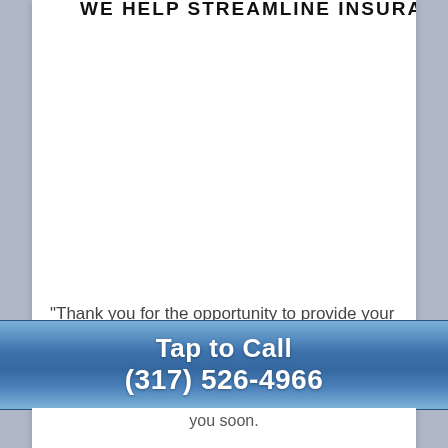WE HELP STREAMLINE INSURANCE
“Thank you for the opportunity to provide your
[Figure (other): Blue gradient tap-to-call button with phone number]
you soon.